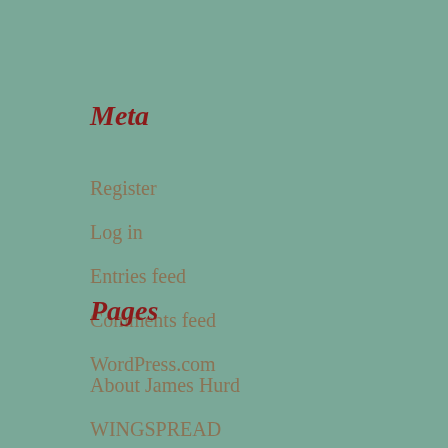Meta
Register
Log in
Entries feed
Comments feed
WordPress.com
Pages
About James Hurd
WINGSPREAD
WINGSPREAD Ezine signup